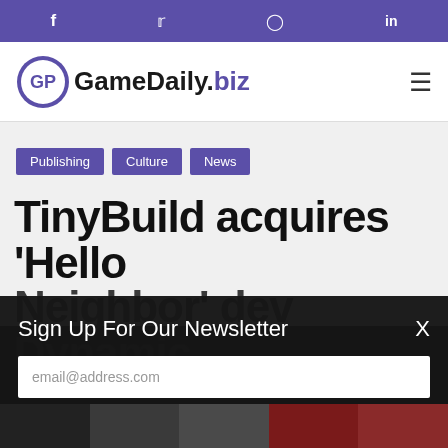Social media icons: Facebook, Twitter, Instagram, LinkedIn
[Figure (logo): GameDaily.biz logo with controller icon]
Publishing
Culture
News
TinyBuild acquires 'Hello Neighbor' dev Dynamic Pixels, establishes Eerie
Sign Up For Our Newsletter
email@address.com
Company
Job Title
Submit